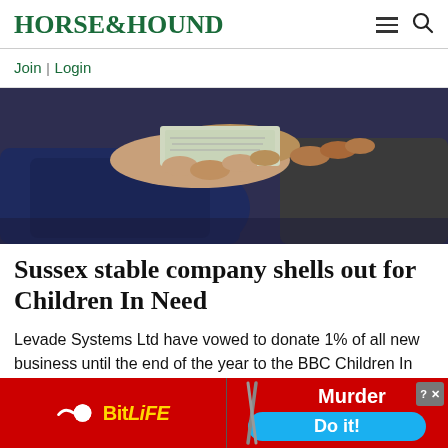HORSE&HOUND
Join | Login
[Figure (photo): Close-up of two people exchanging cash, hands visible, one person wearing a dark navy jacket]
Sussex stable company shells out for Children In Need
Levade Systems Ltd have vowed to donate 1% of all new business until the end of the year to the BBC Children In Need appeal
[Figure (other): Advertisements: BitLife game ad on the left with red background and yellow logo, and a Murder game ad on the right with red background and blue 'Do it!' button]